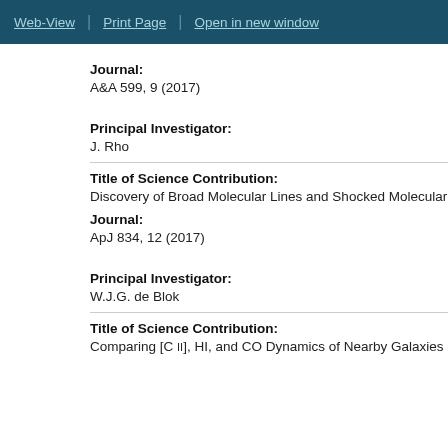Web-View | Print Page | Open in new window
Journal:
A&A 599, 9 (2017)
Principal Investigator:
J. Rho
Title of Science Contribution:
Discovery of Broad Molecular Lines and Shocked Molecular
Journal:
ApJ 834, 12 (2017)
Principal Investigator:
W.J.G. de Blok
Title of Science Contribution:
Comparing [C II], HI, and CO Dynamics of Nearby Galaxies